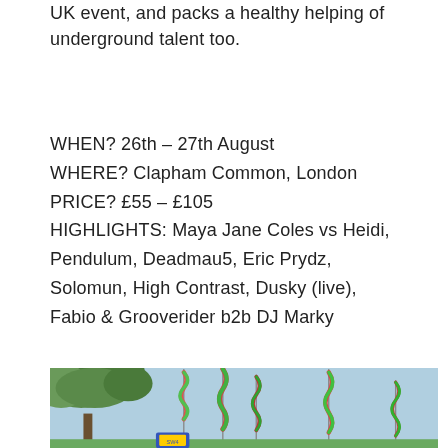UK event, and packs a healthy helping of underground talent too.
WHEN? 26th – 27th August
WHERE? Clapham Common, London
PRICE? £55 – £105
HIGHLIGHTS: Maya Jane Coles vs Heidi, Pendulum, Deadmau5, Eric Prydz, Solomun, High Contrast, Dusky (live), Fabio & Grooverider b2b DJ Marky
southwestfour.com
[Figure (photo): Outdoor festival scene with colorful ribbon flags/streamers on poles against a light blue sky, with green trees on the left side and festival signage visible at the bottom center.]